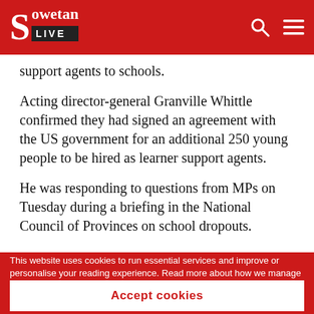Sowetan LIVE
support agents to schools.
Acting director-general Granville Whittle confirmed they had signed an agreement with the US government for an additional 250 young people to be hired as learner support agents.
He was responding to questions from MPs on Tuesday during a briefing in the National Council of Provinces on school dropouts.
This website uses cookies to run essential services and improve or personalise your reading experience. Read more about how we manage your information in our privacy and cookie policies.
Accept cookies